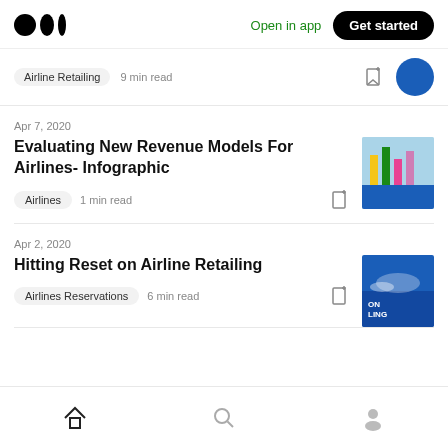Medium logo | Open in app | Get started
Airline Retailing  9 min read
Apr 7, 2020
Evaluating New Revenue Models For Airlines- Infographic
Airlines  1 min read
Apr 2, 2020
Hitting Reset on Airline Retailing
Airlines Reservations  6 min read
Home | Search | Profile